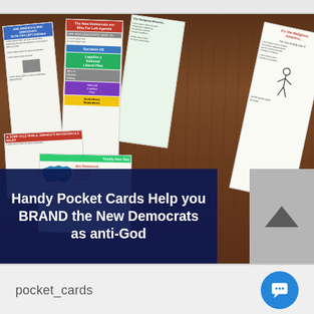[Figure (photo): Photo of multiple political pocket cards/brochures fanned out on a dark wooden table. Cards have red, blue, green, and yellow headers with text about Democrats and religion. An overlay banner at the bottom reads: Handy Pocket Cards Help you BRAND the New Democrats as anti-God]
Handy Pocket Cards Help you BRAND the New Democrats as anti-God
pocket_cards